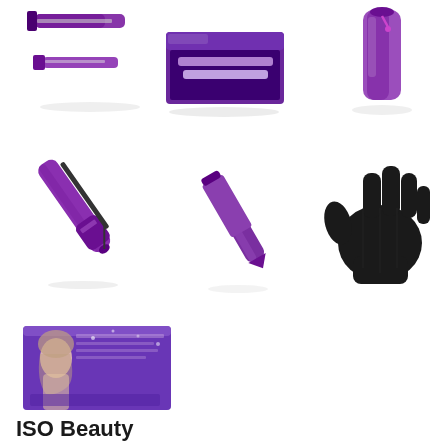[Figure (photo): Purple hair straightener set with two styling tools on white background, top-left]
[Figure (photo): Purple hair styling tools in open gift box, top-center]
[Figure (photo): Purple hair straightener in purple travel pouch, top-right]
[Figure (photo): Purple curling wand/iron on white background, middle-left]
[Figure (photo): Small purple mini hair straightener on white background, middle-center]
[Figure (photo): Black heat protection glove on white background, middle-right]
[Figure (photo): ISO Beauty product box with woman with curly hair, purple box, bottom-left]
ISO Beauty